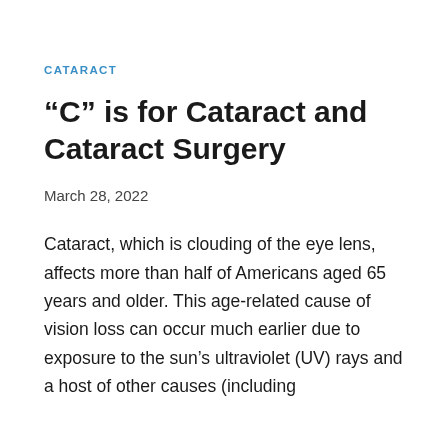CATARACT
“C” is for Cataract and Cataract Surgery
March 28, 2022
Cataract, which is clouding of the eye lens, affects more than half of Americans aged 65 years and older. This age-related cause of vision loss can occur much earlier due to exposure to the sun’s ultraviolet (UV) rays and a host of other causes (including